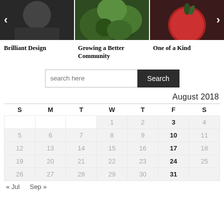[Figure (photo): Three image thumbnails in a horizontal carousel strip. Left: black and white photo of a person. Middle: green plant/foliage photo. Right: red fruit/vegetable photo. Left arrow on left edge, right arrow on right edge.]
Brilliant Design
Growing a Better Community
One of a Kind
search here
| S | M | T | W | T | F | S |
| --- | --- | --- | --- | --- | --- | --- |
|  |  |  | 1 | 2 | 3 | 4 |
| 5 | 6 | 7 | 8 | 9 | 10 | 11 |
| 12 | 13 | 14 | 15 | 16 | 17 | 18 |
| 19 | 20 | 21 | 22 | 23 | 24 | 25 |
| 26 | 27 | 28 | 29 | 30 | 31 |  |
« Jul   Sep »